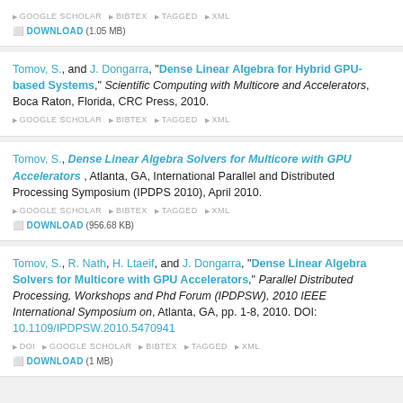DOWNLOAD (1.05 MB)
Tomov, S., and J. Dongarra, "Dense Linear Algebra for Hybrid GPU-based Systems," Scientific Computing with Multicore and Accelerators, Boca Raton, Florida, CRC Press, 2010. GOOGLE SCHOLAR BIBTEX TAGGED XML
Tomov, S., Dense Linear Algebra Solvers for Multicore with GPU Accelerators, Atlanta, GA, International Parallel and Distributed Processing Symposium (IPDPS 2010), April 2010. GOOGLE SCHOLAR BIBTEX TAGGED XML DOWNLOAD (956.68 KB)
Tomov, S., R. Nath, H. Ltaeif, and J. Dongarra, "Dense Linear Algebra Solvers for Multicore with GPU Accelerators," Parallel Distributed Processing, Workshops and Phd Forum (IPDPSW), 2010 IEEE International Symposium on, Atlanta, GA, pp. 1-8, 2010. DOI: 10.1109/IPDPSW.2010.5470941 DOI GOOGLE SCHOLAR BIBTEX TAGGED XML DOWNLOAD (1 MB)